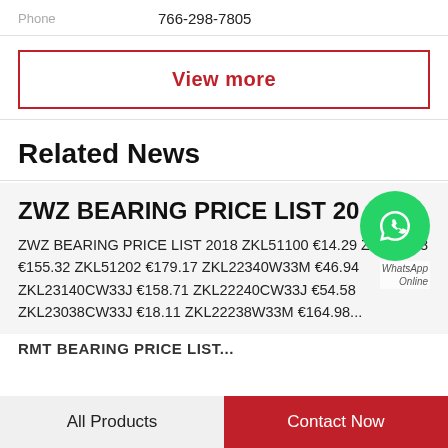Phone   766-298-7805
View more
Related News
ZWZ BEARING PRICE LIST 20...
ZWZ BEARING PRICE LIST 2018 ZKL51100 €14.29 ZKL51203 €155.32 ZKL51202 €179.17 ZKL22340W33M €46.94 ZKL23140CW33J €158.71 ZKL22240CW33J €54.58 ZKL23038CW33J €18.11 ZKL22238W33M €164.98...
[Figure (logo): WhatsApp Online green circle icon with phone handset, labelled WhatsApp Online]
RMT BEARING PRICE LIST...
All Products   Contact Now